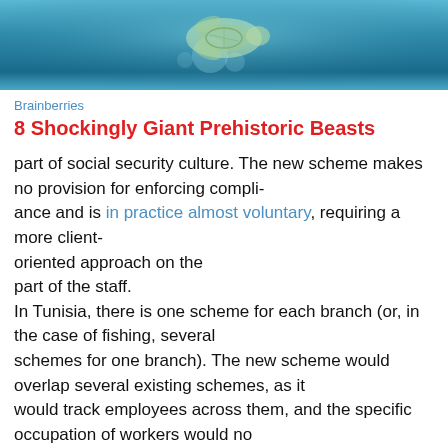[Figure (photo): Underwater photo banner showing fish/turtle in teal blue water]
Brainberries
8 Shockingly Giant Prehistoric Beasts
part of social security culture. The new scheme makes no provision for enforcing compli-ance and is in practice almost voluntary, requiring a more client-oriented approach on the part of the staff. In Tunisia, there is one scheme for each branch (or, in the case of fishing, several schemes for one branch). The new scheme would overlap several existing schemes, as it would track employees across them, and the specific occupation of workers would no longer be relevant past the employer's purchase of the contribution voucher. Adoption of the new scheme would mean that a firm may have traditional employees who remain part of a traditional scheme and mobile workers who are affiliated with the new mobile workers scheme. Having workers at the same firm enroll in different schemes...